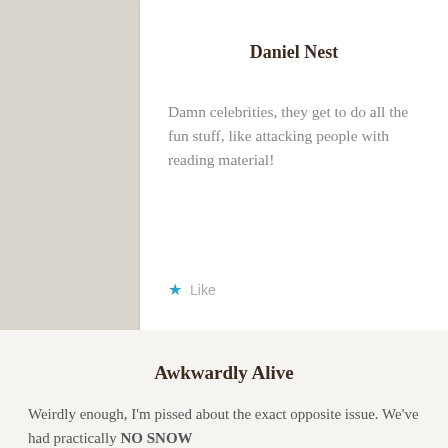Daniel Nest
Damn celebrities, they get to do all the fun stuff, like attacking people with reading material!
Like
DECEMBER 13, 2012 AT 19:31
[Figure (illustration): Gray circular avatar placeholder icon for second commenter]
Awkwardly Alive
Weirdly enough, I'm pissed about the exact opposite issue. We've had practically NO SNOW